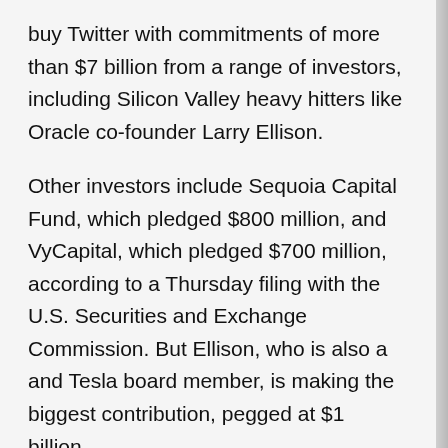buy Twitter with commitments of more than $7 billion from a range of investors, including Silicon Valley heavy hitters like Oracle co-founder Larry Ellison.
Other investors include Sequoia Capital Fund, which pledged $800 million, and VyCapital, which pledged $700 million, according to a Thursday filing with the U.S. Securities and Exchange Commission. But Ellison, who is also a and Tesla board member, is making the biggest contribution, pegged at $1 billion.
Saudi Prince Alwaleed Bin Talal Bin Abdulaziz Alsaud has pledged 35 million in Twitter